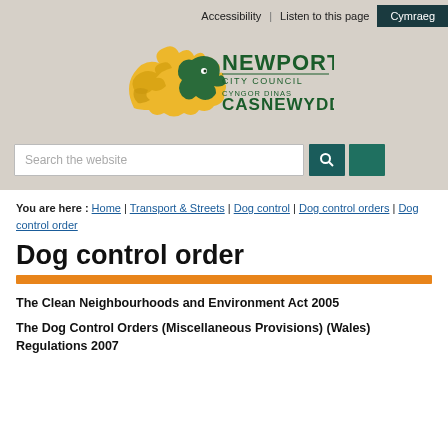Accessibility | Listen to this page  Cymraeg
[Figure (logo): Newport City Council / Cyngor Dinas Casnewydd logo with dragon illustration in green and yellow]
Search the website
You are here : Home | Transport & Streets | Dog control | Dog control orders | Dog control order
Dog control order
The Clean Neighbourhoods and Environment Act 2005
The Dog Control Orders (Miscellaneous Provisions) (Wales) Regulations 2007